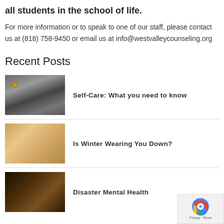all students in the school of life.
For more information or to speak to one of our staff, please contact us at (818) 758-9450 or email us at info@westvalleycounseling.org
Recent Posts
Self-Care: What you need to know
Is Winter Wearing You Down?
Disaster Mental Health